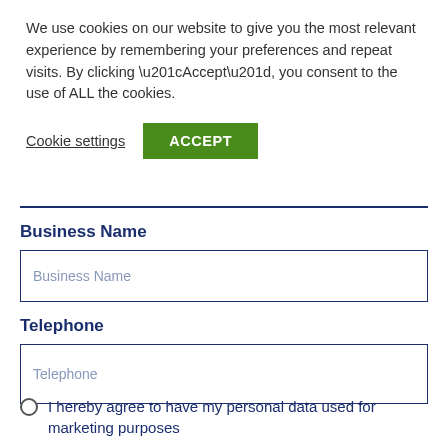We use cookies on our website to give you the most relevant experience by remembering your preferences and repeat visits. By clicking “Accept”, you consent to the use of ALL the cookies.
Cookie settings  ACCEPT
Business Name
Business Name (input field placeholder)
Telephone
Telephone (input field placeholder)
I hereby agree to have my personal data used for marketing purposes